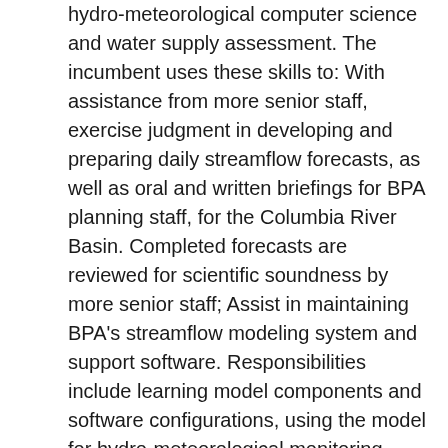hydro-meteorological computer science and water supply assessment. The incumbent uses these skills to: With assistance from more senior staff, exercise judgment in developing and preparing daily streamflow forecasts, as well as oral and written briefings for BPA planning staff, for the Columbia River Basin. Completed forecasts are reviewed for scientific soundness by more senior staff; Assist in maintaining BPA's streamflow modeling system and support software. Responsibilities include learning model components and software configurations, using the model for hydro-meteorological monitoring, evaluating model performance, assisting in model maintenance and backup, execution of the Extended Streamflow Prediction (ESP) portion of the model, and evaluation of ESP results; Maintain computer software, spreadsheets, and databases to enhance the operational functions of the weather and streamflow forecasting group; Apply